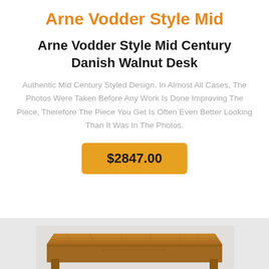Arne Vodder Style Mid
Arne Vodder Style Mid Century Danish Walnut Desk
Authentic Mid Century Styled Design. In Almost All Cases, The Photos Were Taken Before Any Work Is Done Improving The Piece, Therefore The Piece You Get Is Often Even Better Looking Than It Was In The Photos.
$2847.00
[Figure (photo): Partial view of a walnut desk with mid-century Danish design, showing the top surface and front face of the desk from a slightly elevated angle against a light background.]